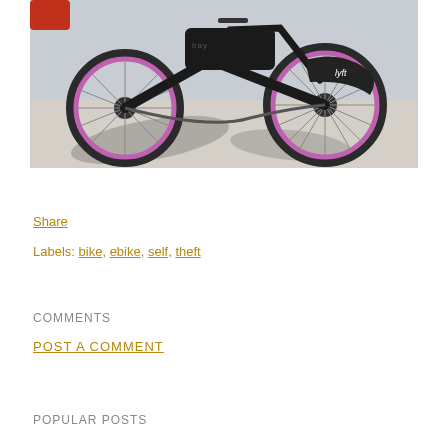[Figure (photo): Close-up photograph of a black Bay Wheels / Lyft electric bike (ebike) parked, showing two wheels with pink/purple rims, black frame with battery box labeled 'bay', and Lyft logo on the rear fender. The bike casts shadows on a sunny concrete surface.]
Share
Labels: bike, ebike, self, theft
COMMENTS
POST A COMMENT
POPULAR POSTS